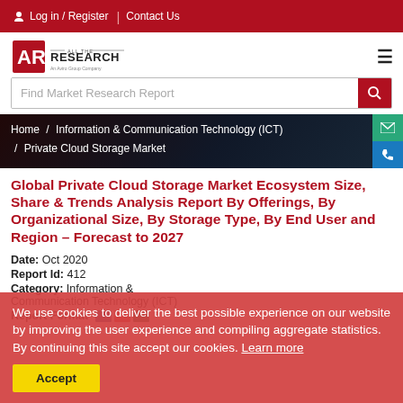Log in / Register | Contact Us
[Figure (logo): All The Research - An Aviro Group Company logo]
Find Market Research Report (search bar)
Home / Information & Communication Technology (ICT) / Private Cloud Storage Market
Global Private Cloud Storage Market Ecosystem Size, Share & Trends Analysis Report By Offerings, By Organizational Size, By Storage Type, By End User and Region – Forecast to 2027
Date: Oct 2020
Report Id: 412
Category: Information & Communication Technology (ICT)
Report Format
We use cookies to deliver the best possible experience on our website by improving the user experience and compiling aggregate statistics. By continuing this site accept our cookies. Learn more